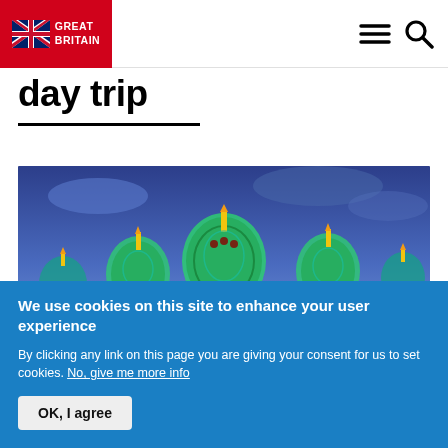GREAT BRITAIN — navigation header with logo, hamburger menu, and search icon
day trip
[Figure (photo): Brighton Royal Pavilion illuminated at night with colorful lights in pink, yellow, green and gold against a blue dusk sky]
We use cookies on this site to enhance your user experience
By clicking any link on this page you are giving your consent for us to set cookies. No, give me more info
OK, I agree